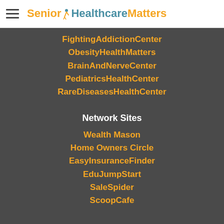Senior Healthcare Matters
FightingAddictionCenter
ObesityHealthMatters
BrainAndNerveCenter
PediatricsHealthCenter
RareDiseasesHealthCenter
Network Sites
Wealth Mason
Home Owners Circle
EasyInsuranceFinder
EduJumpStart
SaleSpider
ScoopCafe